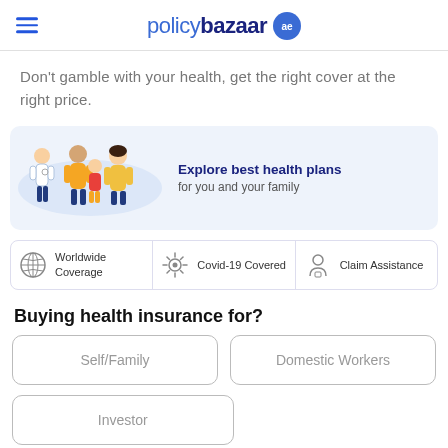policybazaar ae
Don't gamble with your health, get the right cover at the right price.
[Figure (illustration): Doctor and family illustration with text: Explore best health plans for you and your family]
[Figure (infographic): Three feature icons: Worldwide Coverage, Covid-19 Covered, Claim Assistance]
Buying health insurance for?
Self/Family
Domestic Workers
Investor